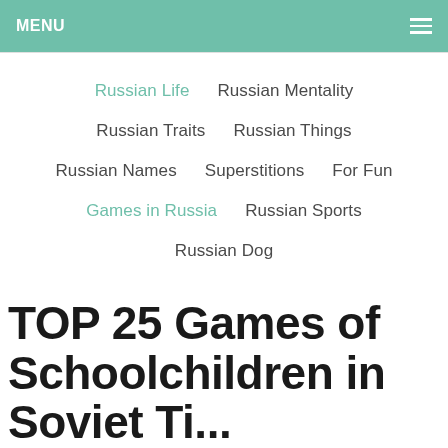MENU
Russian Life
Russian Mentality
Russian Traits
Russian Things
Russian Names
Superstitions
For Fun
Games in Russia
Russian Sports
Russian Dog
TOP 25 Games of Schoolchildren in Soviet Ti...